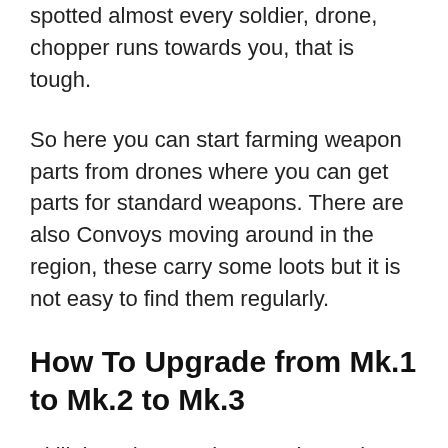spotted almost every soldier, drone, chopper runs towards you, that is tough.
So here you can start farming weapon parts from drones where you can get parts for standard weapons. There are also Convoys moving around in the region, these carry some loots but it is not easy to find them regularly.
How To Upgrade from Mk.1 to Mk.2 to Mk.3
Skill three has Mark Upgrade section on the right end in the first tier. Upgrade cost is 2 and 4 Skill points. You will need to unlock this first and then finding higher weapon parts is a tiring task. Gunsmith menu is simple to understand, but getting items in the game is a little tough. You have to keep